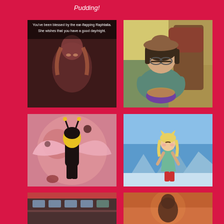Pudding!
[Figure (illustration): Dark-toned anime screenshot of Raphtalia with text overlay reading 'You've been blessed by the ear-flapping Raphtalia. She wishes that you have a good day/night.']
[Figure (illustration): Cartoon girl with glasses and bob haircut sitting in a chair eating from a bowl, sleepy/droopy expression, wearing teal sweater]
[Figure (illustration): Action anime scene with yellow and black armored figure with wings against pink/red background]
[Figure (illustration): Star Butterfly character standing alone in a snowy/icy blue landscape looking small and melancholy]
[Figure (illustration): Partial view of a building with windows against dark reddish background]
[Figure (illustration): Partial view of an anime character silhouetted against a warm sunset/red sky]